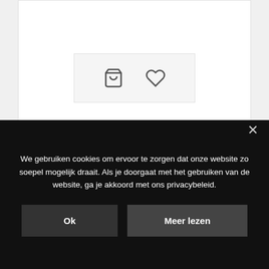[Figure (screenshot): Product card with shopping cart and heart/wishlist icons in a light grey button bar]
CDs, Rock
Aries – Crash & Burn
€5.95
[Figure (logo): Anouk logo in white bold text on black background]
We gebruiken cookies om ervoor te zorgen dat onze website zo soepel mogelijk draait. Als je doorgaat met het gebruiken van de website, ga je akkoord met ons privacybeleid.
Ok
Meer lezen